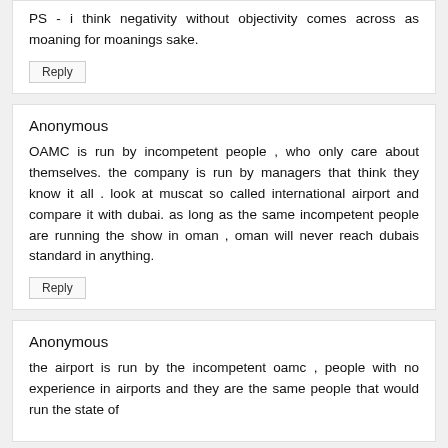PS - i think negativity without objectivity comes across as moaning for moanings sake.
Reply
Anonymous
OAMC is run by incompetent people , who only care about themselves. the company is run by managers that think they know it all . look at muscat so called international airport and compare it with dubai. as long as the same incompetent people are running the show in oman , oman will never reach dubais standard in anything.
Reply
Anonymous
the airport is run by the incompetent oamc , people with no experience in airports and they are the same people that would run the state of